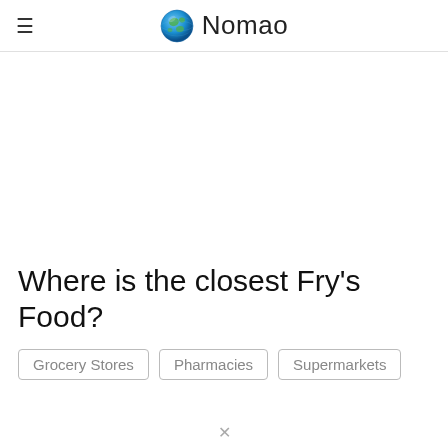Nomao
Where is the closest Fry's Food?
Grocery Stores
Pharmacies
Supermarkets